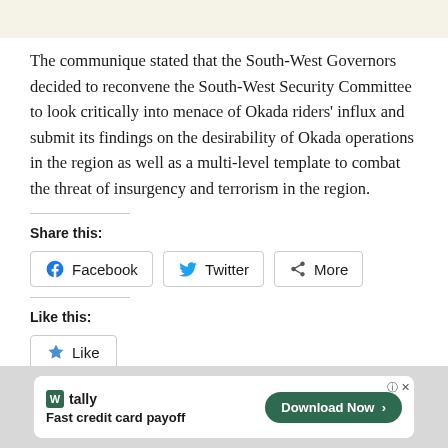The communique stated that the South-West Governors decided to reconvene the South-West Security Committee to look critically into menace of Okada riders' influx and submit its findings on the desirability of Okada operations in the region as well as a multi-level template to combat the threat of insurgency and terrorism in the region.
Share this:
[Figure (other): Social share buttons: Facebook, Twitter, More]
Like this:
[Figure (other): Like button with star icon]
Be the first to like this.
[Figure (other): Advertisement banner: Tally - Fast credit card payoff. Download Now button.]